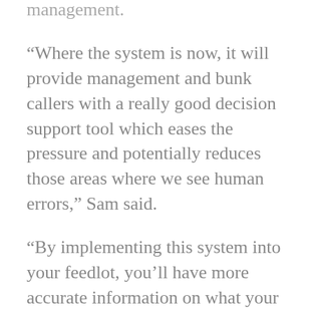management.
“Where the system is now, it will provide management and bunk callers with a really good decision support tool which eases the pressure and potentially reduces those areas where we see human errors,” Sam said.
“By implementing this system into your feedlot, you’ll have more accurate information on what your cattle have actually consumed on a daily basis, which will help you to mitigate the risks of performance losses that arise when cattle are underfed.
“Providing staff with better information allows them to better achieve the goals that management has in place for historical